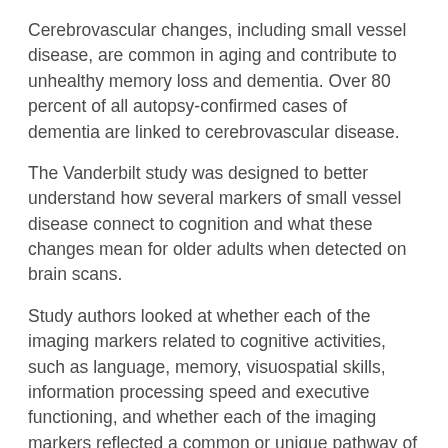Cerebrovascular changes, including small vessel disease, are common in aging and contribute to unhealthy memory loss and dementia. Over 80 percent of all autopsy-confirmed cases of dementia are linked to cerebrovascular disease.
The Vanderbilt study was designed to better understand how several markers of small vessel disease connect to cognition and what these changes mean for older adults when detected on brain scans.
Study authors looked at whether each of the imaging markers related to cognitive activities, such as language, memory, visuospatial skills, information processing speed and executive functioning, and whether each of the imaging markers reflected a common or unique pathway of injury.